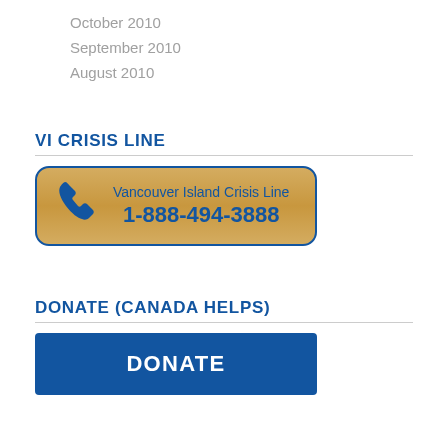October 2010
September 2010
August 2010
VI CRISIS LINE
[Figure (infographic): Vancouver Island Crisis Line phone banner with gold background showing phone icon, text 'Vancouver Island Crisis Line' and number '1-888-494-3888']
DONATE (CANADA HELPS)
[Figure (infographic): Blue donate button with white text 'DONATE']